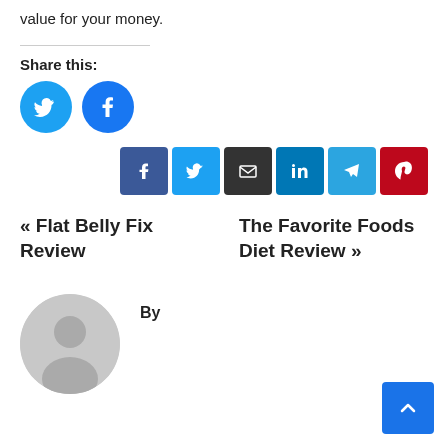value for your money.
Share this:
[Figure (infographic): Social share buttons: Twitter circle and Facebook circle]
[Figure (infographic): Social share square buttons: Facebook, Twitter, Email, LinkedIn, Telegram, Pinterest]
« Flat Belly Fix Review   The Favorite Foods Diet Review »
[Figure (photo): Generic user avatar placeholder (grey circle with silhouette)]
By